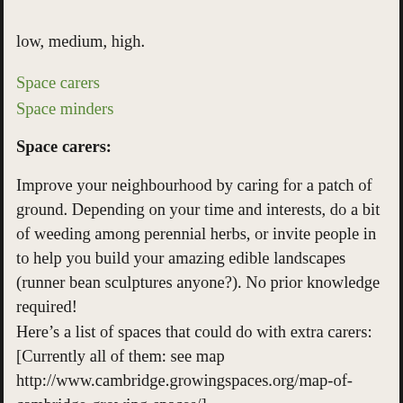low, medium, high.
Space carers
Space minders
Space carers:
Improve your neighbourhood by caring for a patch of ground. Depending on your time and interests, do a bit of weeding among perennial herbs, or invite people in to help you build your amazing edible landscapes (runner bean sculptures anyone?). No prior knowledge required! Here’s a list of spaces that could do with extra carers: [Currently all of them: see map http://www.cambridge.growingspaces.org/map-of-cambridge-growing-spaces/]
What you get out of it: Feel the power of being the